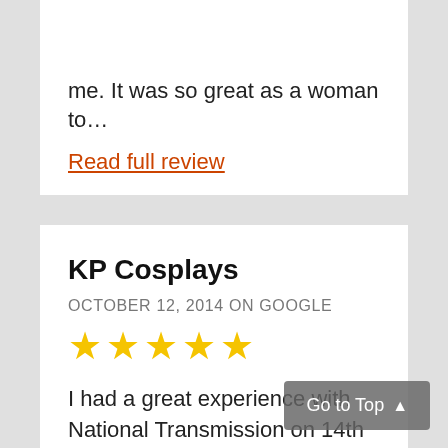me. It was so great as a woman to…
Read full review
KP Cosplays
OCTOBER 12, 2014 ON GOOGLE
[Figure (other): Five yellow star rating]
I had a great experience with National Transmission on 14th Street, they put a new transmission and clutch in my Honda Civic. They were fast with the installation and gave me a fantastic price. The car
Go to Top ▲